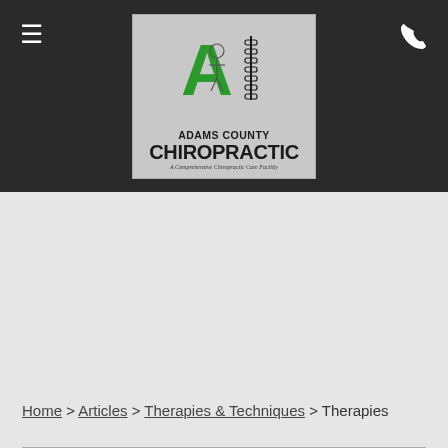[Figure (logo): Adams County Chiropractic logo: large green letter A with spine graphic and figure, text reading ADAMS COUNTY CHIROPRACTIC, tagline A Comprehensive Chiropractic Care Facility]
Home > Articles > Therapies & Techniques > Therapies
Along with chiropractic adjustments, your suggested care regimen may also include various therapies designed to aid in your healing and pain reduction. Many therapies are drug-free ways to stimulate affected areas of the body